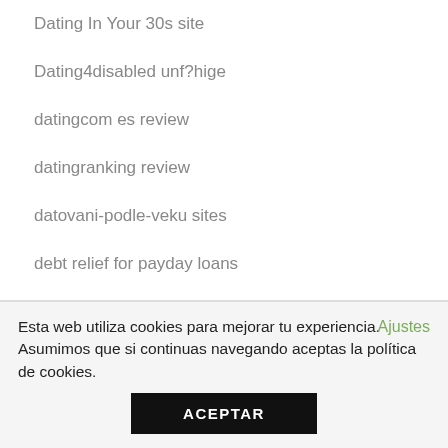Dating In Your 30s site
Dating4disabled unf?hige
datingcom es review
datingranking review
datovani-podle-veku sites
debt relief for payday loans
definition installment loans
Esta web utiliza cookies para mejorar tu experiencia. Asumimos que si continuas navegando aceptas la política de cookies.
Ajustes
ACEPTAR